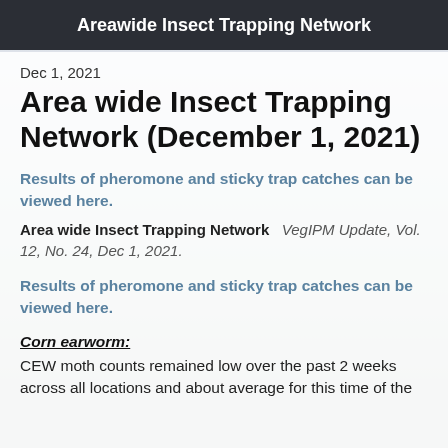Areawide Insect Trapping Network
Dec 1, 2021
Area wide Insect Trapping Network (December 1, 2021)
Results of pheromone and sticky trap catches can be viewed here.
Area wide Insect Trapping Network   VegIPM Update, Vol. 12, No. 24, Dec 1, 2021.
Results of pheromone and sticky trap catches can be viewed here.
Corn earworm:
CEW moth counts remained low over the past 2 weeks across all locations and about average for this time of the